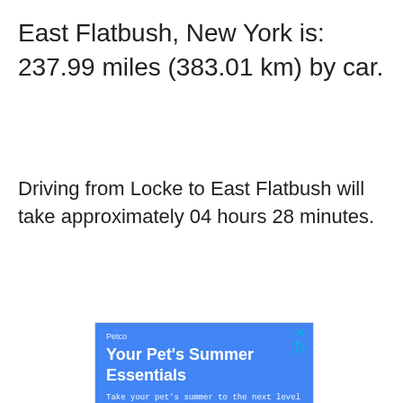East Flatbush, New York is: 237.99 miles (383.01 km) by car.
Driving from Locke to East Flatbush will take approximately 04 hours 28 minutes.
[Figure (screenshot): Petco advertisement banner with text 'Your Pet’s Summer Essentials - Take your pet's summer to the next level with Petco.' followed by a Google Maps view showing Target, ZavaZon, Wegmans, Chick-fil-A, and Sterling locations with map pins.]